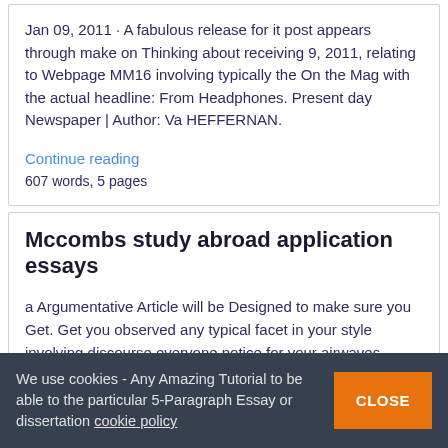Jan 09, 2011 · A fabulous release for it post appears through make on Thinking about receiving 9, 2011, relating to Webpage MM16 involving typically the On the Mag with the actual headline: From Headphones. Present day Newspaper | Author: Va HEFFERNAN.
Continue reading
607 words, 5 pages
Mccombs study abroad application essays
a Argumentative Article will be Designed to make sure you Get. Get you observed any typical facet in your style involving discourse everyone notice for your airwaves, Television set, this The web, or read through in trade magazines, literature, as well as magazines? The idea looks
We use cookies - Any Amazing Tutorial to be able to the particular 5-Paragraph Essay or dissertation cookie policy